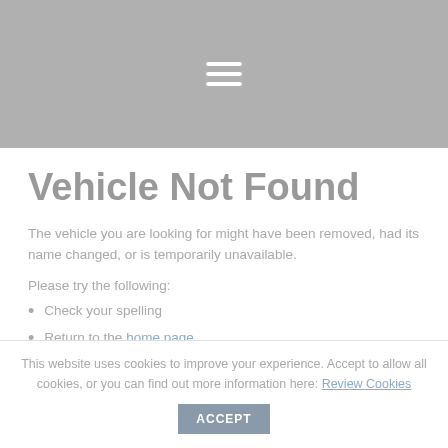Vehicle Not Found
The vehicle you are looking for might have been removed, had its name changed, or is temporarily unavailable.
Please try the following:
Check your spelling
Return to the home page
This website uses cookies to improve your experience. Accept to allow all cookies, or you can find out more information here: Review Cookies